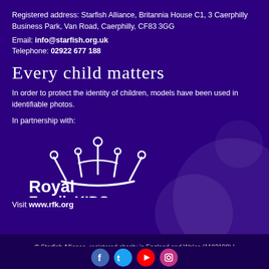Registered address: Starfish Alliance, Britannia House C1, 3 Caerphilly Business Park, Van Road, Caerphilly, CF83 3GG
Email: info@starfish.org.uk
Telephone: 02922 677 188
Every child matters
In order to protect the identity of children, models have been used in identifiable photos.
In partnership with:
[Figure (logo): Royal Family KIDS logo — white crown icon above 'Royal FamilyKIDS' text in white on purple background]
Visit www.rfk.org
© Starfish Alliance, registered charity in England and Wales (1182198) | Site by chawkins24.co.uk